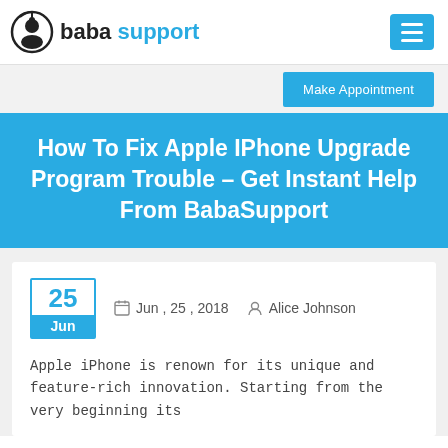baba support
How To Fix Apple IPhone Upgrade Program Trouble – Get Instant Help From BabaSupport
Jun , 25 , 2018  Alice Johnson
Apple iPhone is renown for its unique and feature-rich innovation. Starting from the very beginning its